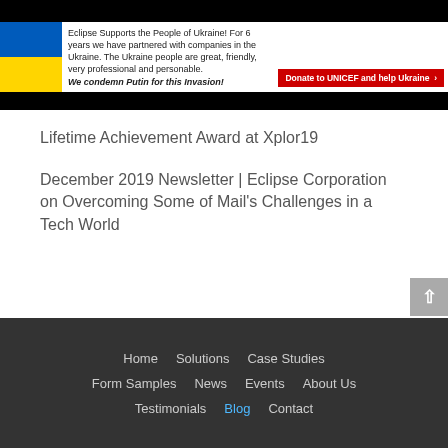[Figure (infographic): Ukraine support banner with Ukrainian flag (blue and yellow), text about Eclipse supporting Ukraine, bold italic condemnation of Putin, and a red Donate to UNICEF button]
Lifetime Achievement Award at Xplor19
December 2019 Newsletter | Eclipse Corporation on Overcoming Some of Mail's Challenges in a Tech World
Home | Solutions | Case Studies | Form Samples | News | Events | About Us | Testimonials | Blog | Contact